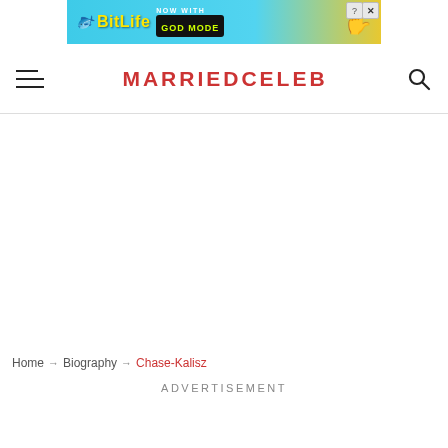[Figure (screenshot): BitLife advertisement banner with 'NOW WITH GOD MODE' text on blue/yellow background]
MARRIEDCELEB
Home → Biography → Chase-Kalisz
ADVERTISEMENT